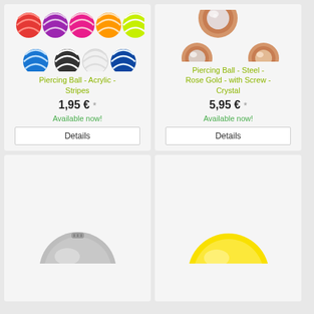[Figure (photo): Colorful striped acrylic piercing balls in multiple colors: red, purple, pink, orange, yellow-green, blue, black/white, white, dark blue/white]
Piercing Ball - Acrylic - Stripes
1,95 € *
Available now!
Details
[Figure (photo): Rose gold piercing balls with crystal: three views showing rose gold metal with clear crystal and peach/champagne crystal]
Piercing Ball - Steel - Rose Gold - with Screw - Crystal
5,95 € *
Available now!
Details
[Figure (photo): Steel piercing ball with screw, silver metallic, partially visible at bottom of card]
[Figure (photo): Yellow piercing ball, partially visible at bottom of card]